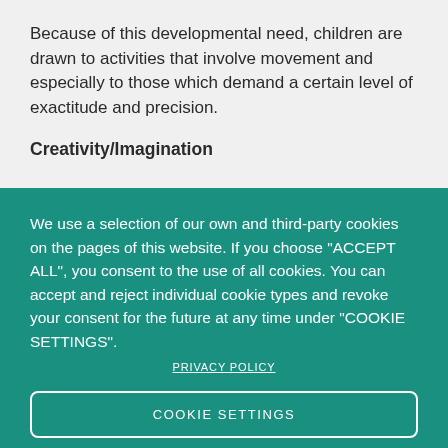Because of this developmental need, children are drawn to activities that involve movement and especially to those which demand a certain level of exactitude and precision.
Creativity/Imagination
We use a selection of our own and third-party cookies on the pages of this website. If you choose "ACCEPT ALL", you consent to the use of all cookies. You can accept and reject individual cookie types and revoke your consent for the future at any time under "COOKIE SETTINGS".
PRIVACY POLICY
COOKIE SETTINGS
DENY ALL
ACCEPT ALL